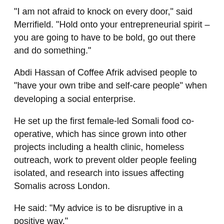“I am not afraid to knock on every door,” said Merrifield. “Hold onto your entrepreneurial spirit – you are going to have to be bold, go out there and do something.”
Abdi Hassan of Coffee Afrik advised people to “have your own tribe and self-care people” when developing a social enterprise.
He set up the first female-led Somali food co-operative, which has since grown into other projects including a health clinic, homeless outreach, work to prevent older people feeling isolated, and research into issues affecting Somalis across London.
He said: “My advice is to be disruptive in a positive way.”
Hackney News